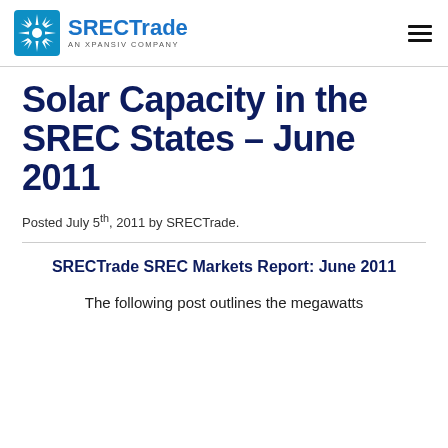SRECTrade — AN XPANSIV COMPANY
Solar Capacity in the SREC States – June 2011
Posted July 5th, 2011 by SRECTrade.
SRECTrade SREC Markets Report: June 2011
The following post outlines the megawatts